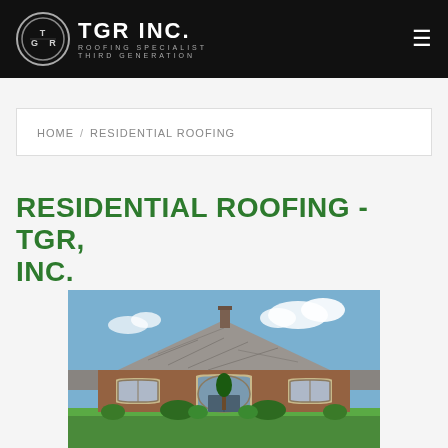TGR INC. ROOFING SPECIALIST THIRD GENERATION
HOME / RESIDENTIAL ROOFING
RESIDENTIAL ROOFING - TGR, INC.
[Figure (photo): Exterior photo of a brick residential home with a grey shingle roof, arched entryway, multiple gabled dormers, and landscaped front yard under a blue sky with clouds.]